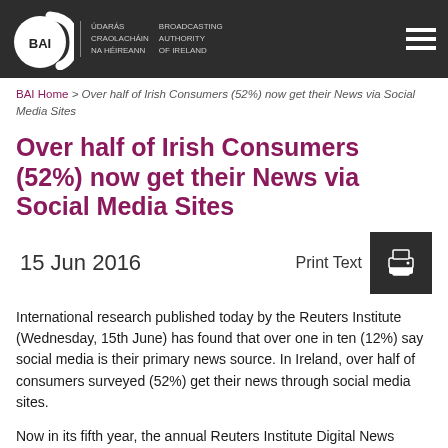BAI | ÚDARÁS CRAOLACHÁIN NA hÉIREANN | BROADCASTING AUTHORITY OF IRELAND
BAI Home > Over half of Irish Consumers (52%) now get their News via Social Media Sites
Over half of Irish Consumers (52%) now get their News via Social Media Sites
15 Jun 2016
Print Text
International research published today by the Reuters Institute (Wednesday, 15th June) has found that over one in ten (12%) say social media is their primary news source. In Ireland, over half of consumers surveyed (52%) get their news through social media sites.
Now in its fifth year, the annual Reuters Institute Digital News Report, published by the Reuters Institute for the Study of Journalism, highlights the widespread use of